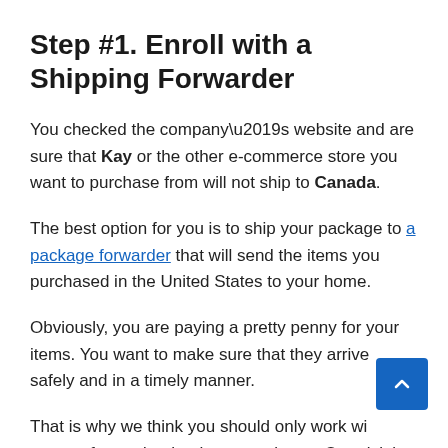Step #1. Enroll with a Shipping Forwarder
You checked the company’s website and are sure that Kay or the other e-commerce store you want to purchase from will not ship to Canada.
The best option for you is to ship your package to a package forwarder that will send the items you purchased in the United States to your home.
Obviously, you are paying a pretty penny for your items. You want to make sure that they arrive safely and in a timely manner.
That is why we think you should only work wi forwarder that has experience. Our pick is